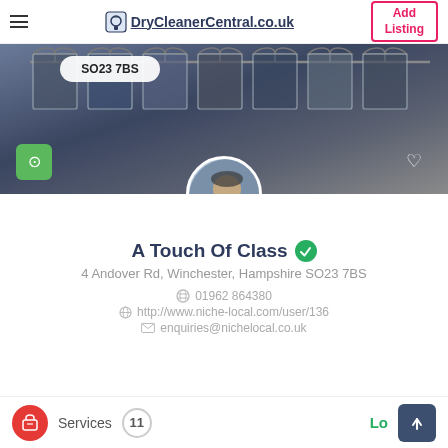DryCleanerCentral.co.uk | Add Listing
[Figure (photo): Hero banner showing clothing hangers in a dark blue/grey palette with postcode badge SO23 7BS, a green location pin button, and a heart icon]
[Figure (photo): Circular profile avatar showing a person handling laundry/clothes]
A Touch Of Class
4 Andover Rd, Winchester, Hampshire SO23 7BS
01962 864380
http://www.niche-local.com/user/136
enquiries@nichelocal.co.uk
Services  11  Lo